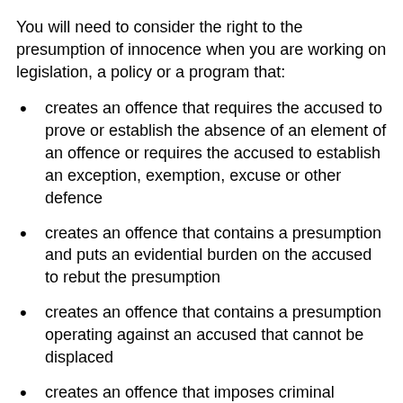You will need to consider the right to the presumption of innocence when you are working on legislation, a policy or a program that:
creates an offence that requires the accused to prove or establish the absence of an element of an offence or requires the accused to establish an exception, exemption, excuse or other defence
creates an offence that contains a presumption and puts an evidential burden on the accused to rebut the presumption
creates an offence that contains a presumption operating against an accused that cannot be displaced
creates an offence that imposes criminal liability on an officer of a corporation solely by reference to the officer's position, and require [Back to top] to make out a defence